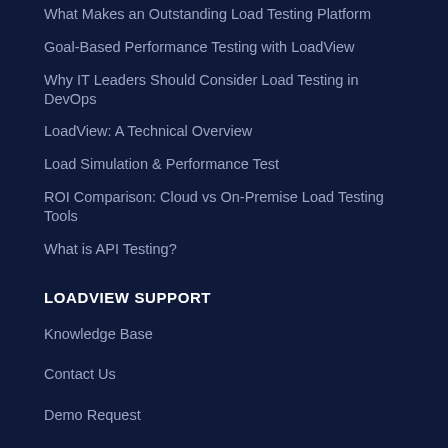What Makes an Outstanding Load Testing Platform
Goal-Based Performance Testing with LoadView
Why IT Leaders Should Consider Load Testing in DevOps
LoadView: A Technical Overview
Load Simulation & Performance Test
ROI Comparison: Cloud vs On-Premise Load Testing Tools
What is API Testing?
LOADVIEW SUPPORT
Knowledge Base
Contact Us
Demo Request